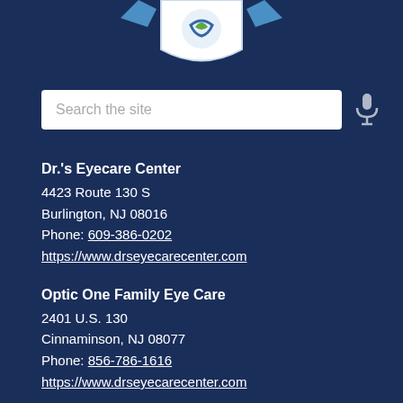[Figure (logo): Partial logo at top of page showing a shield-shaped emblem with a blue and green circular icon, partially cropped]
Search the site
Dr.'s Eyecare Center
4423 Route 130 S
Burlington, NJ 08016
Phone: 609-386-0202
https://www.drseyecarecenter.com
Optic One Family Eye Care
2401 U.S. 130
Cinnaminson, NJ 08077
Phone: 856-786-1616
https://www.drseyecarecenter.com